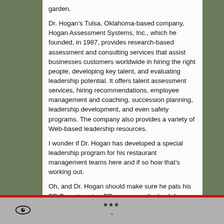garden.
Dr. Hogan’s Tulsa, Oklahoma-based company, Hogan Assessment Systems, Inc., which he founded, in 1987, provides research-based assessment and consulting services that assist businesses customers worldwide in hiring the right people, developing key talent, and evaluating leadership potential. It offers talent assessment services, hiring recommendations, employee management and coaching, succession planning, leadership development, and even safety programs. The company also provides a variety of Web-based leadership resources.
I wonder if Dr. Hogan has developed a special leadership program for his restaurant management teams here and if so how that’s working out.
Oh, and Dr. Hogan should make sure he pats his PR Department or PR agency on the back for getting him two valuable and authoritative  mentions in the WSJ in two consecutive months, no easy task.
*** ⌃